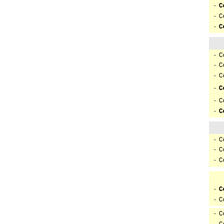ConfNote:= Extended deadline
ConfURL:="http://depling.org/"
ConfImpact:="Selected papers at
ConfName:="MT Marathon / PBML"
ConfAddress:="5.9.2011, Trento,
ConfDeadline:="2011-07-10"
ConfNote:="Abstract submission;
ConfURL:="http://www.euromatrixp
ConfImpact:="PBML = 10 bodů"
ConfName:="TSD 2011"
ConfAddress:="1.-5.9.2011, Plzeň
ConfDeadline:="2011-04-08"
ConfNote:=""
ConfURL:="http://www.kiv.zcu.cz/
ConfImpact:="Springer LNCS = 8 b
ConfName:="EMNLP 2011"
ConfAddress:="27.-31.7.2011, Edi
ConfDeadline:="2011-03-30"